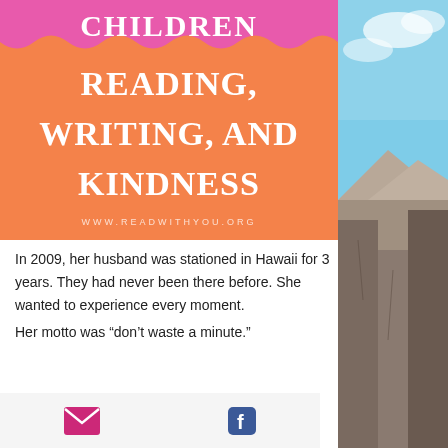CHILDREN READING, WRITING, AND KINDNESS
WWW.READWITHYOU.ORG
In 2009, her husband was stationed in Hawaii for 3 years. They had never been there before. She wanted to experience every moment.
Her motto was “don’t waste a minute.”
[Figure (illustration): Email icon (pink envelope) and Facebook icon (blue F) in a light gray footer bar]